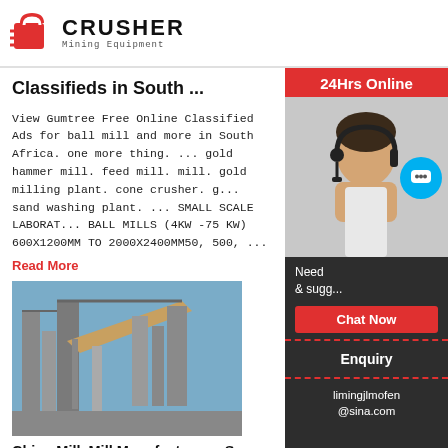CRUSHER Mining Equipment
Classifieds in South ...
View Gumtree Free Online Classified Ads for ball mill and more in South Africa. one more thing. ... gold hammer mill. feed mill. mill. gold milling plant. cone crusher. g... sand washing plant. ... SMALL SCALE LABORAT... BALL MILLS (4KW -75 KW) 600X1200MM TO 2000X2400MM50, 500, ...
Read More
[Figure (photo): Industrial mill/crusher facility with metal structures and conveyor belts against blue sky]
China Mill, Mill Manufacturers, Sup... Price Made-in ...
[Figure (infographic): Right sidebar with 24Hrs Online banner, customer service representative photo with headset, chat now button, enquiry section, and limingjlmofen@sina.com email]